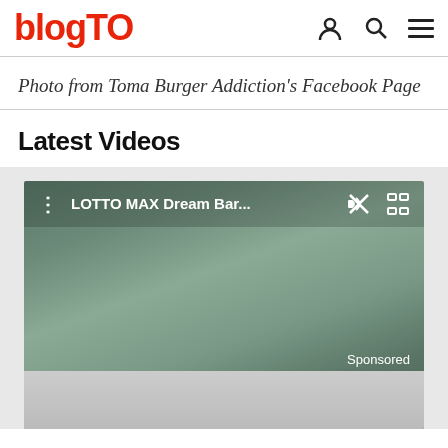blogTO
Photo from Toma Burger Addiction's Facebook Page
Latest Videos
[Figure (screenshot): Video player showing LOTTO MAX Dream Bar... with mute and fullscreen icons, and a Sponsored label. The video thumbnail is a blurred green/teal gradient background.]